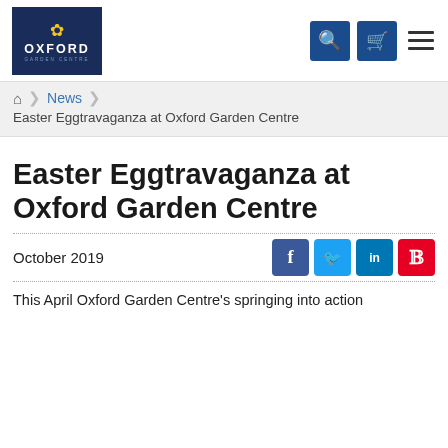[Figure (logo): Oxford Garden Centre logo - dark navy background with sunflower icon, OXFORD text and GARDEN CENTRE text]
Navigation icons: search, cart, hamburger menu
Home > News > Easter Eggtravaganza at Oxford Garden Centre
Easter Eggtravaganza at Oxford Garden Centre
October 2019
This April Oxford Garden Centre's springing into action